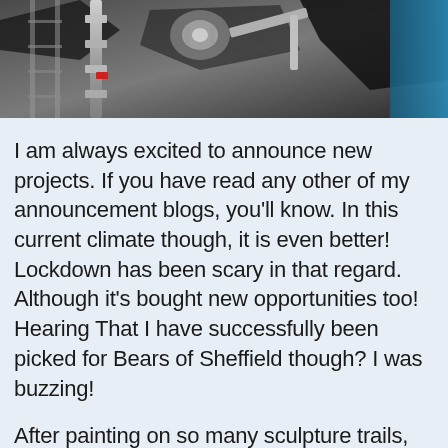[Figure (photo): A black and white photo showing what appears to be industrial or mechanical equipment, possibly related to a mural or art installation, with metallic structures and dark abstract shapes visible.]
I am always excited to announce new projects. If you have read any other of my announcement blogs, you'll know. In this current climate though, it is even better! Lockdown has been scary in that regard. Although it's bought new opportunities too! Hearing That I have successfully been picked for Bears of Sheffield though? I was buzzing!
After painting on so many sculpture trails, the idea of not painting one in my home city would be pretty rubbish. To get confirmation of a new painting project after these last few months is amazing, and it’s great to visit Sheffield i